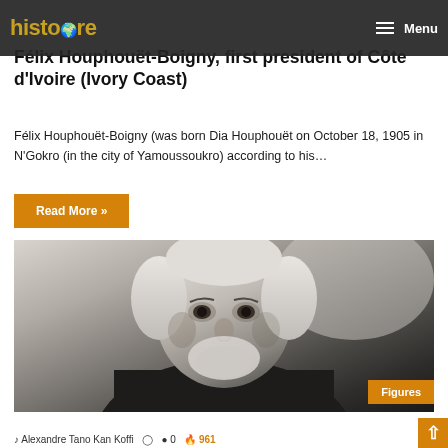histoire — Menu
Félix Houphouët-Boigny, first president of Côte d'Ivoire (Ivory Coast)
Félix Houphouët-Boigny (was born Dia Houphouët on October 18, 1905 in N'Gokro (in the city of Yamoussoukro) according to his…
Read More »
[Figure (photo): Black and white portrait photograph of Frederick Douglass, an older man with white hair and beard wearing a dark suit and bow tie]
Figures
Alexandre Tano Kan Koffi  0  961